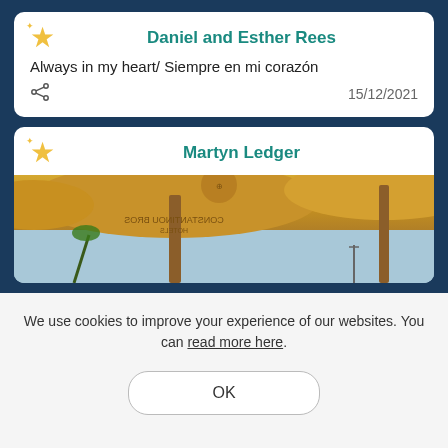Daniel and Esther Rees
Always in my heart/ Siempre en mi corazón
15/12/2021
Martyn Ledger
[Figure (photo): Photo of yellow beach umbrellas with 'Constantinou Bros Hotels' branding, viewed from below against a blue sky, image appears mirrored/upside-down]
We use cookies to improve your experience of our websites. You can read more here.
OK